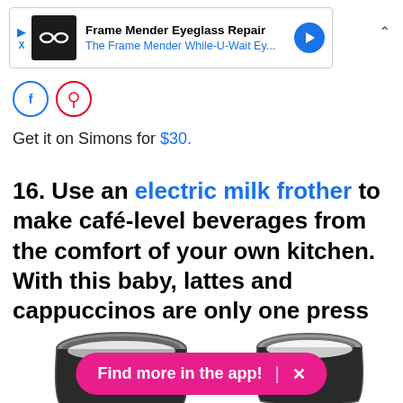[Figure (screenshot): Advertisement banner for Frame Mender Eyeglass Repair with logo, text, and blue arrow icon]
[Figure (screenshot): Two small social media icon circles (blue Facebook-style, red Pinterest-style)]
Get it on Simons for $30.
16. Use an electric milk frother to make café-level beverages from the comfort of your own kitchen. With this baby, lattes and cappuccinos are only one press of a button away!
[Figure (photo): Two stainless steel milk frother cups/containers viewed from above, one with milk inside, on white background]
Find more in the app! X